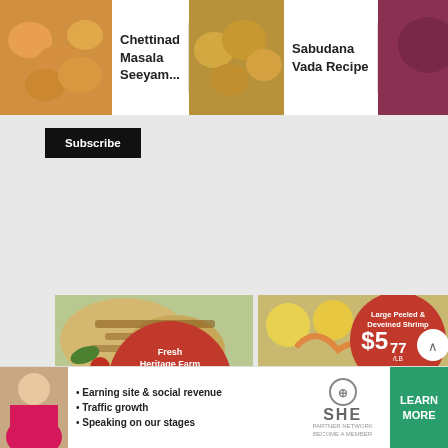[Figure (screenshot): Website screenshot showing recipe thumbnails: Chettinad Masala Seeyam, Sabudana Vada Recipe, Chana Su... Recipe, with a Subscribe button below]
[Figure (infographic): Grocery store ad showing Fresh Heritage Farm Boneless Chicken Breasts at $1.97/LB With Card & Digital Coupon, with grilled chicken photo and grapes]
[Figure (infographic): Grocery store ad showing Large Peeled & Deveined Shrimp at $5.77/LB With Card & Digital Coupon, and Nathan's Beef Franks at $3.49/EA With Card & Digital Coupon]
[Figure (infographic): Bottom advertisement banner for SHE Media Partner Network with bullets: Earning site & social revenue, Traffic growth, Speaking on our stages, and a Learn More button]